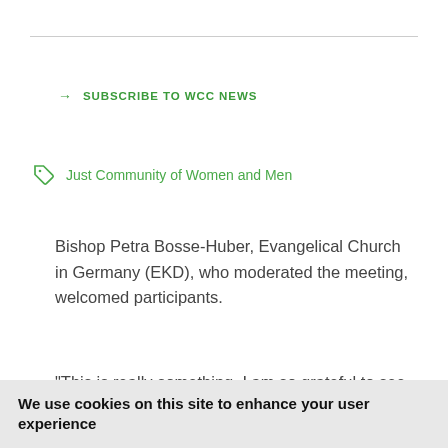→ SUBSCRIBE TO WCC NEWS
Just Community of Women and Men
Bishop Petra Bosse-Huber, Evangelical Church in Germany (EKD), who moderated the meeting, welcomed participants.
“This is really something. I am so grateful to see
We use cookies on this site to enhance your user experience